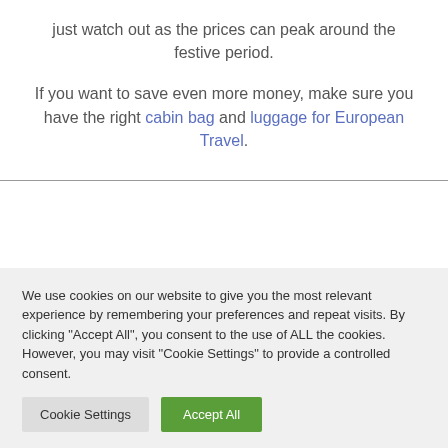just watch out as the prices can peak around the festive period.
If you want to save even more money, make sure you have the right cabin bag and luggage for European Travel.
We use cookies on our website to give you the most relevant experience by remembering your preferences and repeat visits. By clicking "Accept All", you consent to the use of ALL the cookies. However, you may visit "Cookie Settings" to provide a controlled consent.